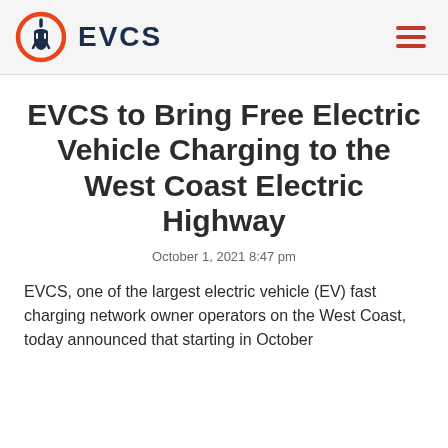EVCS
EVCS to Bring Free Electric Vehicle Charging to the West Coast Electric Highway
October 1, 2021 8:47 pm
EVCS, one of the largest electric vehicle (EV) fast charging network owner operators on the West Coast, today announced that starting in October...